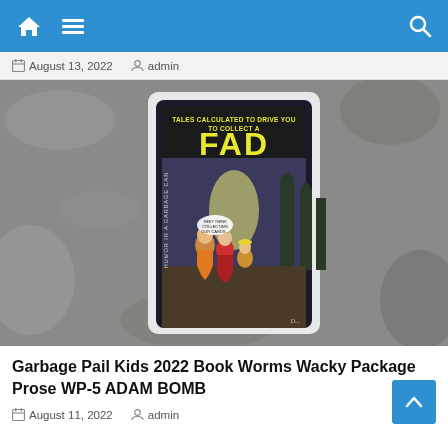Navigation bar with home, menu, and search icons
August 13, 2022  admin
[Figure (photo): A trading card for 'FAD' — a Garbage Pail Kids 2022 Book Worms Wacky Package Prose card, showing a comic-book style cover titled 'TALES CALCULATED TO DRIVE YOU TO COLLECT A FAD' with cartoon children looking scared in a dark setting. Text on the left spine reads 'HUMOR IN A GARBAGE CAN'. The card is photographed on a granite surface.]
Garbage Pail Kids 2022 Book Worms Wacky Package Prose WP-5 ADAM BOMB
August 11, 2022  admin